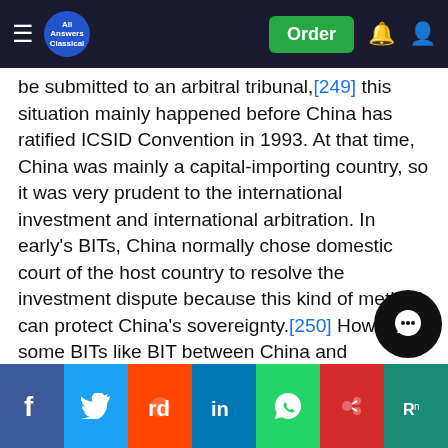All Answers Classical — Order
be submitted to an arbitral tribunal,[249] this situation mainly happened before China has ratified ICSID Convention in 1993. At that time, China was mainly a capital-importing country, so it was very prudent to the international investment and international arbitration. In early's BITs, China normally chose domestic court of the host country to resolve the investment dispute because this kind of method can protect China's sovereignty.[250] However, some BITs like BIT between China and Switzerland provides that investor can submit a dispute on the matter of compensation of deprivation to international arbitration;[251] or any dispute concerning other matters except the amount of compensation of expropriation and nationalization may be submitted to an arbitration by mutual agreement like BIT between China and Japan. Later on, China started to accept that all dispute concerning the investment shall be submitted to arbitration
Social share bar: Facebook, Twitter, Reddit, LinkedIn, WhatsApp, Mix, ResearchGate